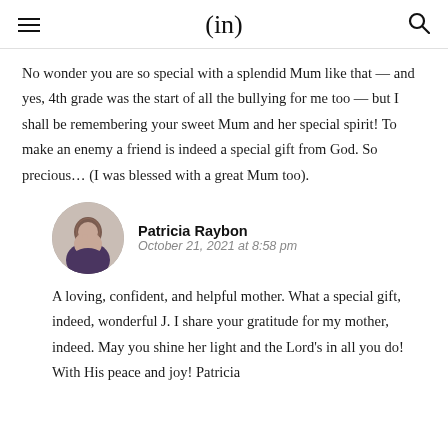(in)
No wonder you are so special with a splendid Mum like that — and yes, 4th grade was the start of all the bullying for me too — but I shall be remembering your sweet Mum and her special spirit! To make an enemy a friend is indeed a special gift from God. So precious… (I was blessed with a great Mum too).
Patricia Raybon
October 21, 2021 at 8:58 pm
A loving, confident, and helpful mother. What a special gift, indeed, wonderful J. I share your gratitude for my mother, indeed. May you shine her light and the Lord's in all you do! With His peace and joy! Patricia